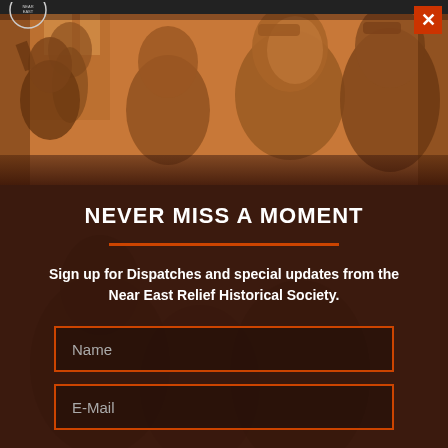[Figure (photo): Sepia-toned historical photograph showing a group of women and children shielding their eyes, looking toward camera. Orange/amber color tint overlay. Near East Relief historical image.]
NEVER MISS A MOMENT
Sign up for Dispatches and special updates from the Near East Relief Historical Society.
[Figure (screenshot): Name input field with orange border and placeholder text 'Name']
[Figure (screenshot): E-Mail input field with orange border and placeholder text 'E-Mail']